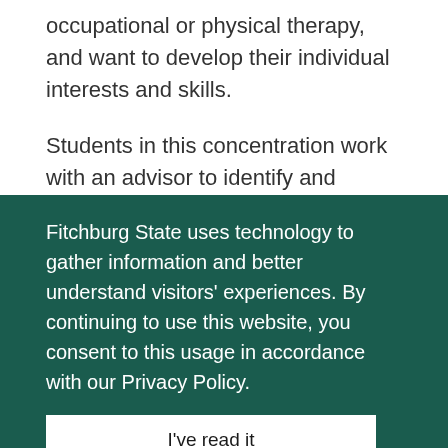occupational or physical therapy, and want to develop their individual interests and skills.
Students in this concentration work with an advisor to identify and receive approval for three goal areas that they wish to address through curriculum offerings. The advisor will work with the student to develop a plan of study to meet the identified goals.
Fitchburg State uses technology to gather information and better understand visitors' experiences. By continuing to use this website, you consent to this usage in accordance with our Privacy Policy.
I've read it
More information